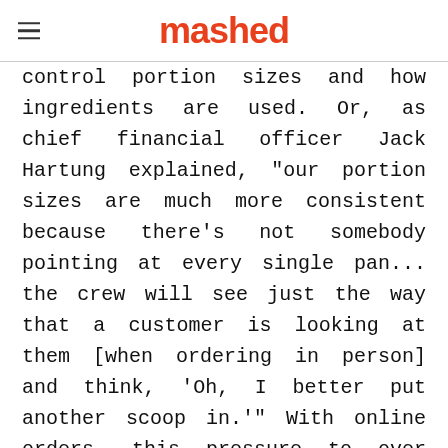mashed
control portion sizes and how ingredients are used. Or, as chief financial officer Jack Hartung explained, "our portion sizes are much more consistent because there's not somebody pointing at every single pan... the crew will see just the way that a customer is looking at them [when ordering in person] and think, 'Oh, I better put another scoop in.'" With online orders, this pressure to over serve disappears.